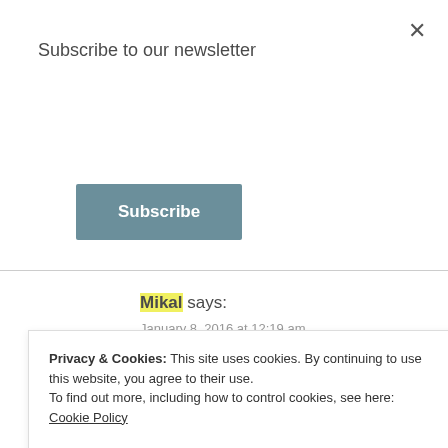Subscribe to our newsletter
Subscribe
Mikal says:
January 8, 2016 at 12:19 am
I. Love. This. So much! I think that's fantastic!! (And I've seen it from a few authors, so choose one. lol!)
I've never done a word for a year...actually I've never done anything like that. But in my reading the other
Privacy & Cookies: This site uses cookies. By continuing to use this website, you agree to their use.
To find out more, including how to control cookies, see here: Cookie Policy
Close and accept